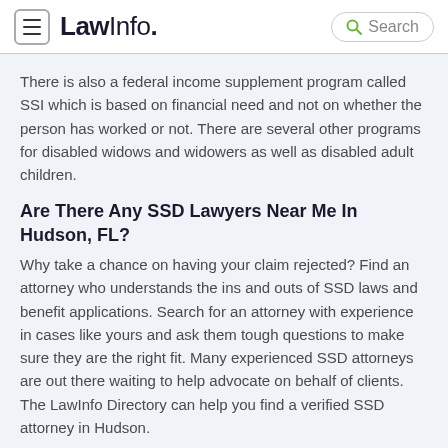LawInfo. Search
There is also a federal income supplement program called SSI which is based on financial need and not on whether the person has worked or not. There are several other programs for disabled widows and widowers as well as disabled adult children.
Are There Any SSD Lawyers Near Me In Hudson, FL?
Why take a chance on having your claim rejected? Find an attorney who understands the ins and outs of SSD laws and benefit applications. Search for an attorney with experience in cases like yours and ask them tough questions to make sure they are the right fit. Many experienced SSD attorneys are out there waiting to help advocate on behalf of clients. The LawInfo Directory can help you find a verified SSD attorney in Hudson.
Can I Have Both SSI and SSDI?
It is possible for a person to receive SSI and SSDI. If you have a